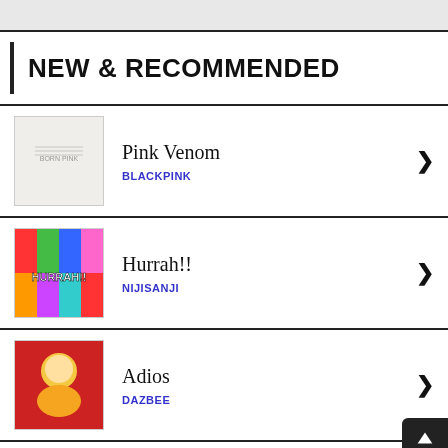NEW & RECOMMENDED
Pink Venom
BLACKPINK
Hurrah!!
NIJISANJI
Adios
DAZBEE
Celebrate
TWICE
x